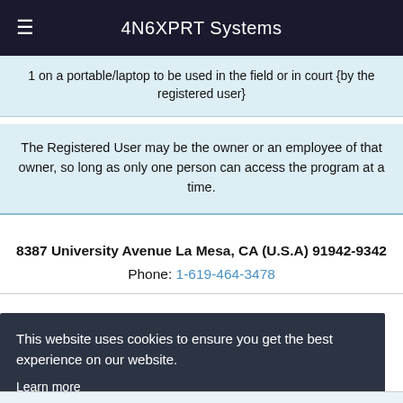4N6XPRT Systems
1 on a portable/laptop to be used in the field or in court {by the registered user}
The Registered User may be the owner or an employee of that owner, so long as only one person can access the program at a time.
8387 University Avenue La Mesa, CA (U.S.A) 91942-9342
Phone: 1-619-464-3478
This website uses cookies to ensure you get the best experience on our website.
Learn more
Got it!